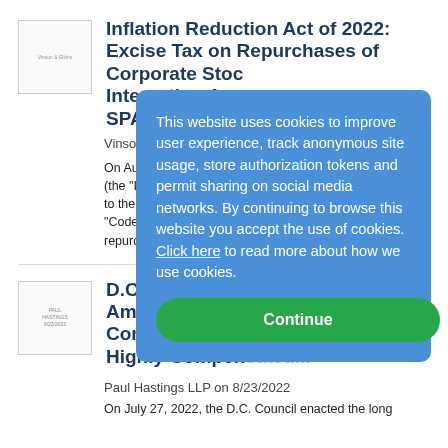[Figure (logo): Thumbnail/logo placeholder for Vinson & Elkins LLP article]
Inflation Reduction Act of 2022: Excise Tax on Repurchases of Corporate Stock — Interesting Applications for SPACs
Vinson & Elkins LLP on 8/23/...
On August 16, 2022, the Inflation Reduction Act (the "IRA") was enacted into law, making amendments to the Internal Revenue Code (the "Code"), the IRA imposes a... repurchases...more
[Figure (logo): Thumbnail/logo placeholder for Paul Hastings LLP article]
D.C. Reverses Course on Amendment Allowing Non-Compete Agreements for Highly Compensated...
Paul Hastings LLP on 8/23/2022
On July 27, 2022, the D.C. Council enacted the long...
This website uses cookies to improve user experience, track anonymous site usage, store authorization tokens and permit sharing on social media networks. By continuing to browse this website you accept the use of cookies. Click here to read more about how we use cookies.

Continue